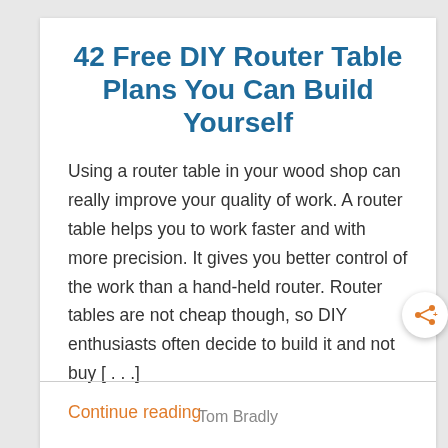42 Free DIY Router Table Plans You Can Build Yourself
Using a router table in your wood shop can really improve your quality of work. A router table helps you to work faster and with more precision. It gives you better control of the work than a hand-held router. Router tables are not cheap though, so DIY enthusiasts often decide to build it and not buy [...]
Continue reading
Tom Bradly